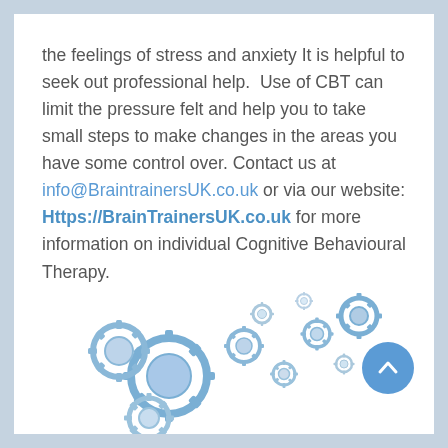the feelings of stress and anxiety It is helpful to seek out professional help.  Use of CBT can limit the pressure felt and help you to take small steps to make changes in the areas you have some control over. Contact us at info@BraintrainersUK.co.uk or via our website: Https://BrainTrainersUK.co.uk for more information on individual Cognitive Behavioural Therapy.
[Figure (illustration): Illustration of a human head profile made of blue gears/cogs, with smaller gears floating out to the right, representing cognitive/brain activity. A blue circular scroll-to-top button is overlaid on the right side.]